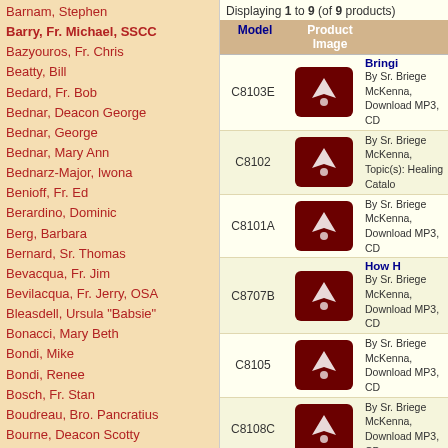Barnam, Stephen
Barry, Fr. Michael, SSCC
Bazyouros, Fr. Chris
Beatty, Bill
Bedard, Fr. Bob
Bednar, Deacon George
Bednar, George
Bednar, Mary Ann
Bednarz-Major, Iwona
Benioff, Fr. Ed
Berardino, Dominic
Berg, Barbara
Bernard, Sr. Thomas
Bevacqua, Fr. Jim
Bevilacqua, Fr. Jerry, OSA
Bleasdell, Ursula "Babsie"
Bonacci, Mary Beth
Bondi, Mike
Bondi, Renee
Bosch, Fr. Stan
Boudreau, Bro. Pancratius
Bourne, Deacon Scotty
Bourne, Joi
Bramlage, Fr. Greg
Bramon, Larry
Brennan, Betty
Brennan, Deacon Bill
Brenner, Sr. Antonia
Bryant, Sr. Kathy
Bui, Fr. Minh
Burke, Fr. John
Burns, Sr. Helena Raphael
Cadena, Ben
Calloway, Fr. Donald, MIC
Cano, Raquel
Cantalamessa, Fr. Raniero
Canton, Bob
Capitanelli Family
Displaying 1 to 9 (of 9 products)
| Model | Product Image |  |
| --- | --- | --- |
| C8103E | [image] | Bringi... By Sr. Briege McKenna, Download MP3, CD |
| C8102 | [image] | By Sr. Briege McKenna, Topic(s): Healing Catalo... |
| C8101A | [image] | By Sr. Briege McKenna, Download MP3, CD |
| C8707B | [image] | How H... By Sr. Briege McKenna, Download MP3, CD |
| C8105 | [image] | By Sr. Briege McKenna, Download MP3, CD |
| C8108C | [image] | By Sr. Briege McKenna, Download MP3, CD |
| C8701A | [image] | Say... By Sr. Briege McKenna, Download MP3, CD |
| T129 | [image] | The H... By Sr. Briege McKenna, Download MP3, CD |
| C8703 | [image] | Wh... By Sr. Briege McKenna, Download MP3, CD |